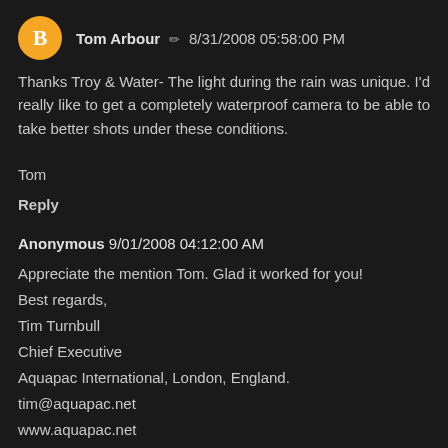Tom Arbour ✏ 8/31/2008 05:58:00 PM
Thanks Troy & Water- The light during the rain was unique. I'd really like to get a completely waterproof camera to be able to take better shots under these conditions.

Tom
Reply
Anonymous 9/01/2008 04:12:00 AM
Appreciate the mention Tom. Glad it worked for you!
Best regards,
Tim Turnbull
Chief Executive
Aquapac International, London, England.
tim@aquapac.net
www.aquapac.net
Reply